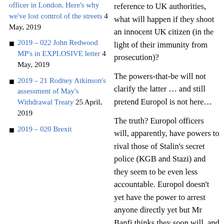officer in London. Here's why we've lost control of the streets 4 May, 2019
2019 – 022 John Redwood MP's in EXPLOSIVE letter 4 May, 2019
2019 – 21 Rodney Atkinson's assessment of May's Withdrawal Treaty 25 April, 2019
2019 – 020 Brexit
reference to UK authorities, what will happen if they shoot an innocent UK citizen (in the light of their immunity from prosecution)?
The powers-that-be will not clarify the latter … and still pretend Europol is not here…
The truth? Europol officers will, apparently, have powers to rival those of Stalin's secret police (KGB and Stazi) and they seem to be even less accountable. Europol doesn't yet have the power to arrest anyone directly yet but Mr Banfi thinks they soon will, and he's an expert so we should pay attention. As said, Europol has no legal status, yet it's here in the UK just the same and officers will apparently be able to: